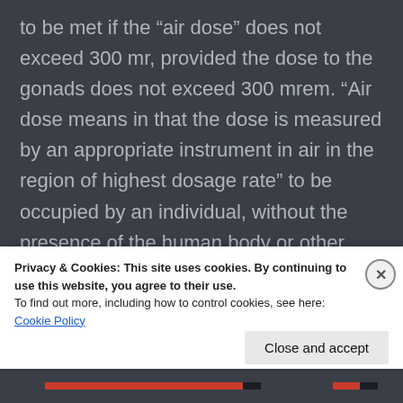to be met if the “air dose” does not exceed 300 mr, provided the dose to the gonads does not exceed 300 mrem. “Air dose means in that the dose is measured by an appropriate instrument in air in the region of highest dosage rate” to be occupied by an individual, without the presence of the human body or other absorbing and scattering material.
2 Exposure of these limited portions of the body under these conditions does not alter the total
Privacy & Cookies: This site uses cookies. By continuing to use this website, you agree to their use.
To find out more, including how to control cookies, see here: Cookie Policy